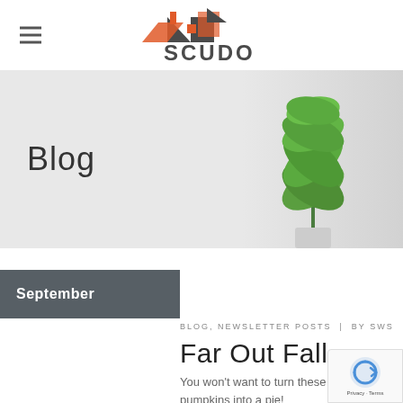[Figure (logo): SCUDO real estate logo with house/roof icon and hamburger menu icon]
[Figure (photo): Blog banner with 'Blog' heading text on grey background and green plant on right side]
September
BLOG, NEWSLETTER POSTS | BY SWS
Far Out Fall
You won't want to turn these pumpkins into a pie!